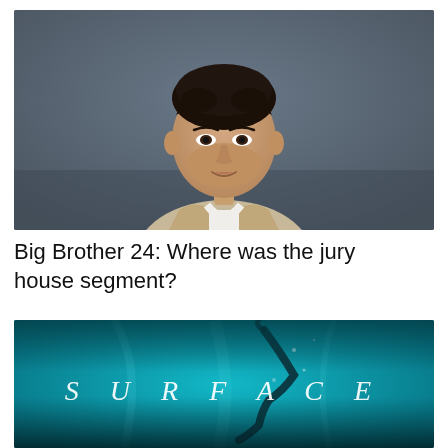[Figure (photo): Headshot of a young man with short dark curly hair, wearing a beige/tan blazer over a white V-neck shirt with a gold necklace, against a dark grey-blue background, smiling slightly]
Big Brother 24: Where was the jury house segment?
[Figure (photo): Promotional image for a show called 'SURFACE' showing an underwater scene in teal/turquoise water with a person swimming or floating, and the show title 'S U R F A C E' in spaced white serif italic letters]